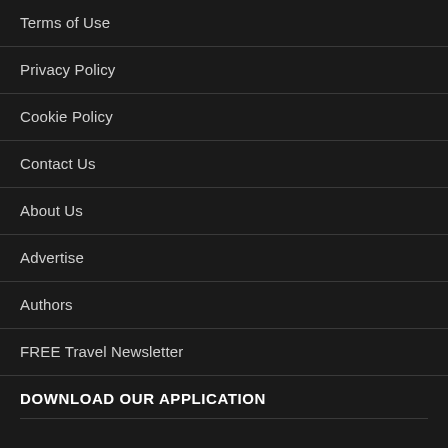Terms of Use
Privacy Policy
Cookie Policy
Contact Us
About Us
Advertise
Authors
FREE Travel Newsletter
DOWNLOAD OUR APPLICATION